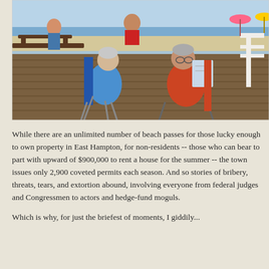[Figure (photo): People sitting in beach chairs on a wooden boardwalk/deck overlooking a beach. Two people in the foreground are seated in folding chairs, one wearing blue with white hair, the other in orange/red holding papers. Wooden benches and beach umbrellas visible in background.]
While there are an unlimited number of beach passes for those lucky enough to own property in East Hampton, for non-residents -- those who can bear to part with upward of $900,000 to rent a house for the summer -- the town issues only 2,900 coveted permits each season. And so stories of bribery, threats, tears, and extortion abound, involving everyone from federal judges and Congressmen to actors and hedge-fund moguls.
Which is why, for just the briefest of moments, I giddily...